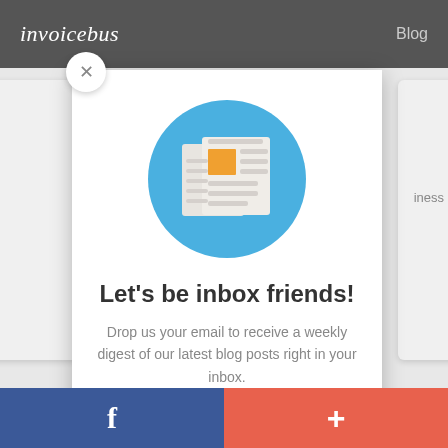invoicebus   Blog
[Figure (screenshot): Newsletter/blog subscription popup modal with blue circle icon containing newspaper illustration, title 'Let's be inbox friends!', and descriptive text. Background shows website with navigation bar. Bottom has Facebook and Google+ social sharing buttons.]
Let's be inbox friends!
Drop us your email to receive a weekly digest of our latest blog posts right in your inbox.